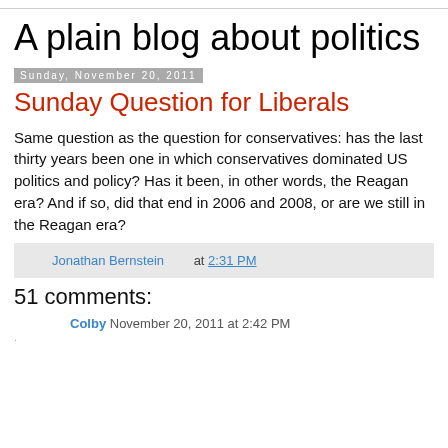A plain blog about politics
Sunday, November 20, 2011
Sunday Question for Liberals
Same question as the question for conservatives: has the last thirty years been one in which conservatives dominated US politics and policy? Has it been, in other words, the Reagan era? And if so, did that end in 2006 and 2008, or are we still in the Reagan era?
Jonathan Bernstein at 2:31 PM
51 comments:
Colby November 20, 2011 at 2:42 PM